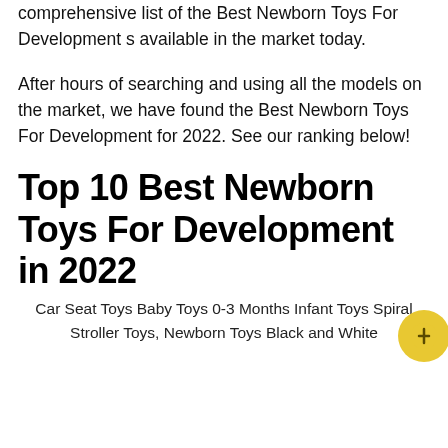comprehensive list of the Best Newborn Toys For Development s available in the market today.
After hours of searching and using all the models on the market, we have found the Best Newborn Toys For Development for 2022. See our ranking below!
Top 10 Best Newborn Toys For Development in 2022
Car Seat Toys Baby Toys 0-3 Months Infant Toys Spiral Stroller Toys, Newborn Toys Black and White